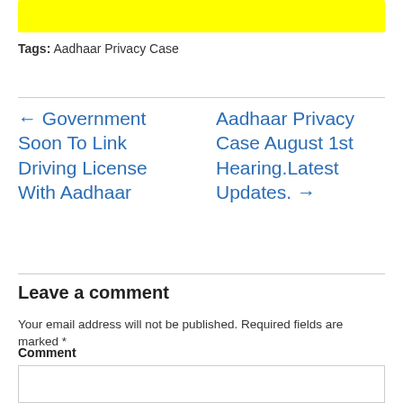[Figure (other): Yellow banner bar at top of page]
Tags: Aadhaar Privacy Case
← Government Soon To Link Driving License With Aadhaar
Aadhaar Privacy Case August 1st Hearing.Latest Updates. →
Leave a comment
Your email address will not be published. Required fields are marked *
Comment